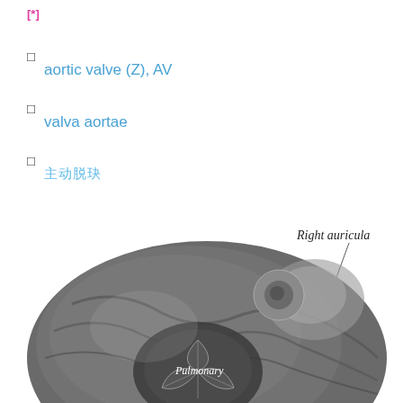[*]
aortic valve (Z), AV
valva aortae
主动脉瓣
[Figure (illustration): Anatomical illustration of the heart showing the pulmonary valve and right auricula. A labeled line points to the Right auricula. The image shows the anterior view of the heart with the pulmonary valve visible in the foreground labeled 'Pulmonary'.]